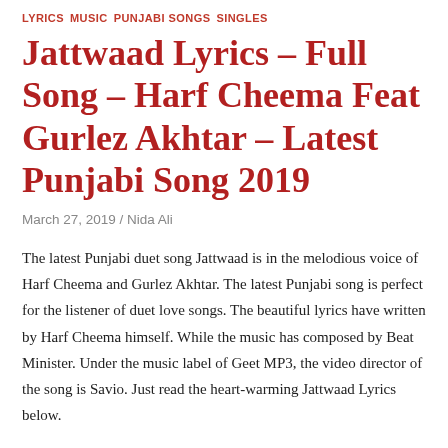LYRICS  MUSIC  PUNJABI SONGS  SINGLES
Jattwaad Lyrics – Full Song – Harf Cheema Feat Gurlez Akhtar – Latest Punjabi Song 2019
March 27, 2019 / Nida Ali
The latest Punjabi duet song Jattwaad is in the melodious voice of Harf Cheema and Gurlez Akhtar. The latest Punjabi song is perfect for the listener of duet love songs. The beautiful lyrics have written by Harf Cheema himself. While the music has composed by Beat Minister. Under the music label of Geet MP3, the video director of the song is Savio. Just read the heart-warming Jattwaad Lyrics below.